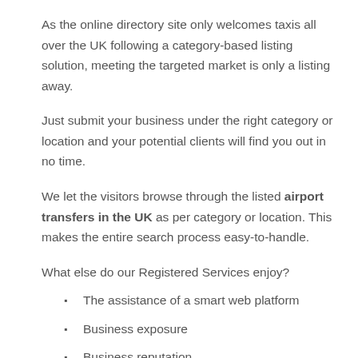As the online directory site only welcomes taxis all over the UK following a category-based listing solution, meeting the targeted market is only a listing away.
Just submit your business under the right category or location and your potential clients will find you out in no time.
We let the visitors browse through the listed airport transfers in the UK as per category or location. This makes the entire search process easy-to-handle.
What else do our Registered Services enjoy?
The assistance of a smart web platform
Business exposure
Business reputation
Business recognition